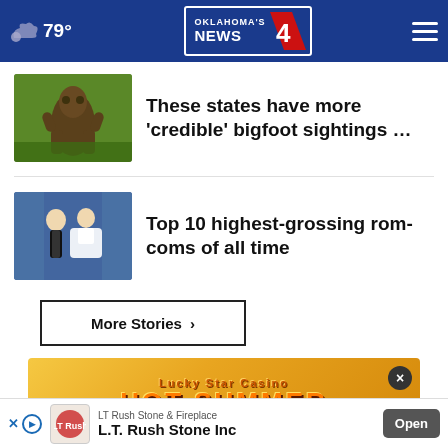79° Oklahoma's News 4
These states have more 'credible' bigfoot sightings …
Top 10 highest-grossing rom-coms of all time
More Stories ›
[Figure (photo): Lucky Star Casino Hot Summer advertisement banner]
[Figure (logo): LT Rush Stone & Fireplace advertisement - L.T. Rush Stone Inc with Open button]